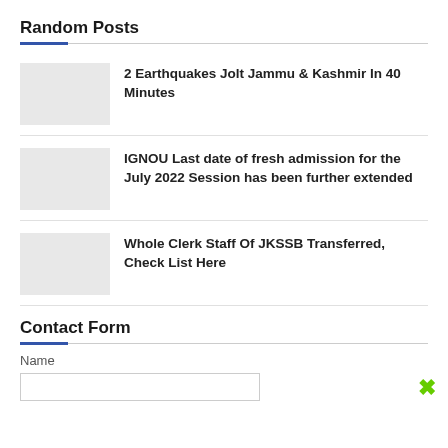Random Posts
2 Earthquakes Jolt Jammu & Kashmir In 40 Minutes
IGNOU Last date of fresh admission for the July 2022 Session has been further extended
Whole Clerk Staff Of JKSSB Transferred, Check List Here
Contact Form
Name